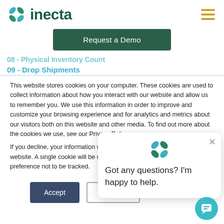[Figure (logo): Inecta logo with teal leaf icon and dark green wordmark 'inecta']
[Figure (illustration): Hamburger menu icon with three gold/amber horizontal lines]
Request a Demo
08 - Physical Inventory Count
09 - Drop Shipments
This website stores cookies on your computer. These cookies are used to collect information about how you interact with our website and allow us to remember you. We use this information in order to improve and customize your browsing experience and for analytics and metrics about our visitors both on this website and other media. To find out more about the cookies we use, see our Privacy Policy.
If you decline, your information won't be tracked when you visit this website. A single cookie will be used in your browser to remember your preference not to be tracked.
Accept
Decline
[Figure (illustration): Chat popup with Inecta leaf logo and message: Got any questions? I'm happy to help.]
[Figure (illustration): Teal circular chat bubble button]